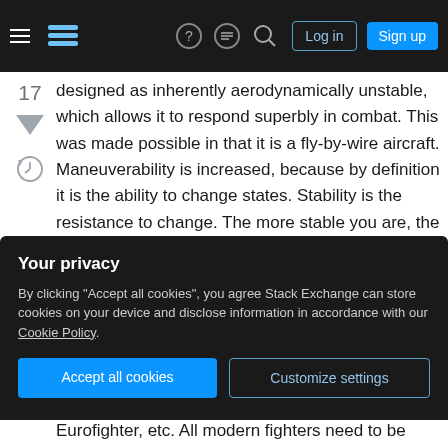Stack Exchange navigation bar with hamburger menu, logo, help, chat, search icons, Log in and Sign up buttons
designed as inherently aerodynamically unstable, which allows it to respond superbly in combat. This was made possible in that it is a fly-by-wire aircraft. Maneuverability is increased, because by definition it is the ability to change states. Stability is the resistance to change. The more stable you are, the harder it is to turn/pitch quickly in a dynamic situation.
And yes, a pilot would not be able to land these aircraft if the fly-by-wire systems became inoperative. There are instances where F-16 pilots
Your privacy
By clicking "Accept all cookies", you agree Stack Exchange can store cookies on your device and disclose information in accordance with our Cookie Policy.
Eurofighter, etc. All modern fighters need to be